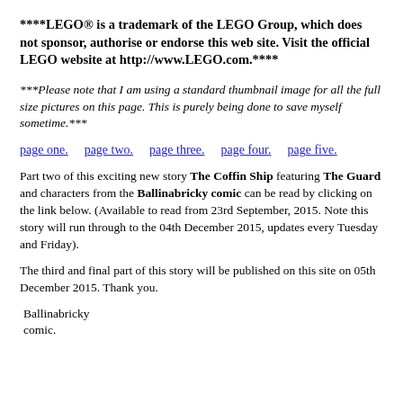****LEGO® is a trademark of the LEGO Group, which does not sponsor, authorise or endorse this web site. Visit the official LEGO website at http://www.LEGO.com.****
***Please note that I am using a standard thumbnail image for all the full size pictures on this page. This is purely being done to save myself sometime.***
page one.   page two.   page three.   page four.   page five.
Part two of this exciting new story The Coffin Ship featuring The Guard and characters from the Ballinabricky comic can be read by clicking on the link below. (Available to read from 23rd September, 2015. Note this story will run through to the 04th December 2015, updates every Tuesday and Friday).
The third and final part of this story will be published on this site on 05th December 2015. Thank you.
Ballinabricky comic.